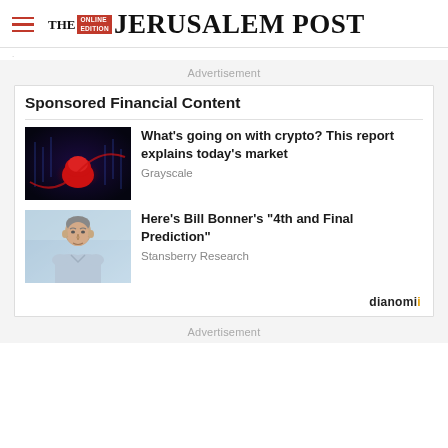THE JERUSALEM POST
Advertisement
Sponsored Financial Content
What's going on with crypto? This report explains today's market
Grayscale
[Figure (photo): Dark background with red glowing abstract crypto shape]
Here's Bill Bonner's “4th and Final Prediction”
Stansberry Research
[Figure (photo): Older man in light blue shirt against blurred outdoor background]
Dianomi
Advertisement